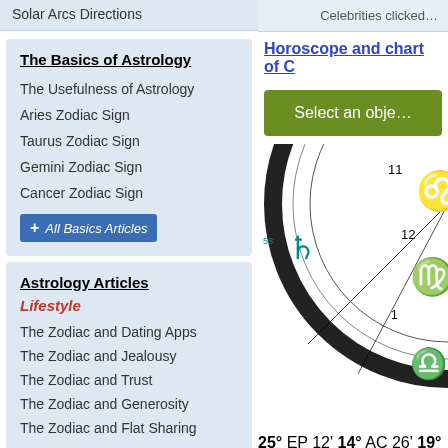Solar Arcs Directions
Celebrities clicked…
The Basics of Astrology
The Usefulness of Astrology
Aries Zodiac Sign
Taurus Zodiac Sign
Gemini Zodiac Sign
Cancer Zodiac Sign
+ All Basics Articles
Astrology Articles
Lifestyle
The Zodiac and Dating Apps
The Zodiac and Jealousy
The Zodiac and Trust
The Zodiac and Generosity
The Zodiac and Flat Sharing
+ All Lifestyle Articles
Horoscope and chart of C…
Select an obje…
[Figure (infographic): Partial astrology natal chart wheel showing zodiac signs Leo, Virgo, Libra, planetary symbols Jupiter (25°58'), EP (14°12'), AC (19°26'), and other symbols including Uranus and Chiron with degree markers and house numbers 1, 11, 12]